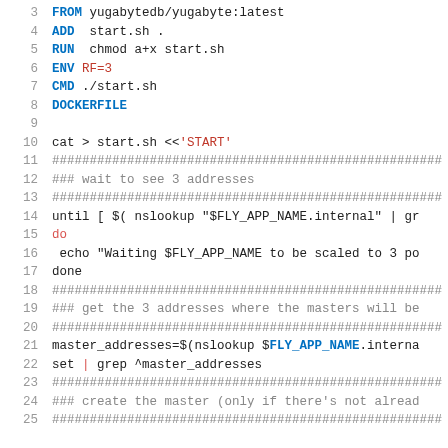[Figure (screenshot): Code listing showing lines 3-25 of a Dockerfile and shell script (start.sh). Lines 3-8 show Dockerfile commands (FROM, ADD, RUN, ENV, CMD, DOCKERFILE). Lines 10-24 show a heredoc shell script with cat, hash comment dividers, until loop, echo, done, master_addresses assignment, set pipe grep, and more comments.]